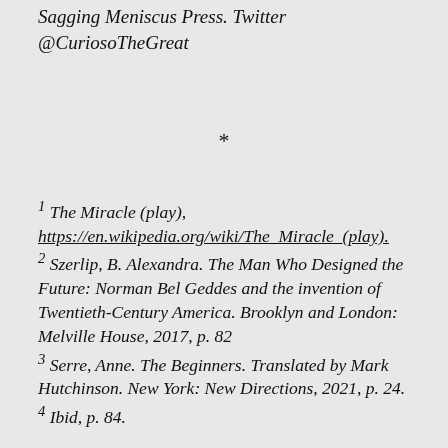Sagging Meniscus Press. Twitter @CuriosoTheGreat
*
1 The Miracle (play), https://en.wikipedia.org/wiki/The_Miracle_(play). 2 Szerlip, B. Alexandra. The Man Who Designed the Future: Norman Bel Geddes and the invention of Twentieth-Century America. Brooklyn and London: Melville House, 2017, p. 82 3 Serre, Anne. The Beginners. Translated by Mark Hutchinson. New York: New Directions, 2021, p. 24. 4 Ibid, p. 84.